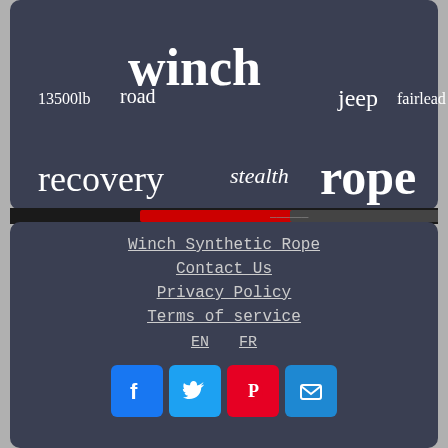[Figure (infographic): Word cloud on dark blue-grey panel with winch-related keywords in various sizes and styles: winch, rope, recovery, warn, cable, wireless, black, silver, jeep, fairlead, 13500lb, road, stealth, 4500lb, zeon, heavy, 12000lb]
[Figure (illustration): Narrow image strip showing a red and black object, partially visible]
Winch Synthetic Rope
Contact Us
Privacy Policy
Terms of service
EN   FR
[Figure (infographic): Social media icons: Facebook (blue), Twitter (blue), Pinterest (red), Email (blue)]